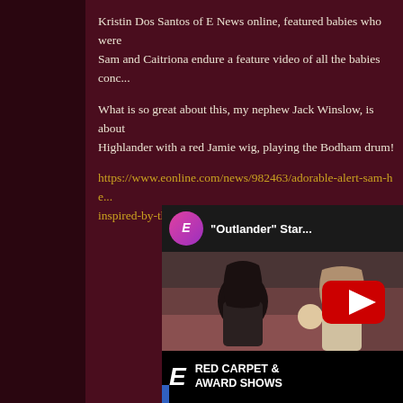Kristin Dos Santos of E News online, featured babies who were inspired by Sam and Caitriona endure a feature video of all the babies conc...
What is so great about this, my nephew Jack Winslow, is about dressed as a Highlander with a red Jamie wig, playing the Bodham drum!
https://www.eonline.com/news/982463/adorable-alert-sam-he... inspired-by-their-steamy-love-scenes
[Figure (screenshot): Embedded YouTube video thumbnail showing E! Insider branding. Top bar has E! Insider circular logo and title 'Outlander Star...'. Middle shows a woman with dark hair and a baby with another person, overlaid with YouTube red play button. Bottom bar shows E! logo with 'RED CARPET & AWARD SHOWS' text on black background.]